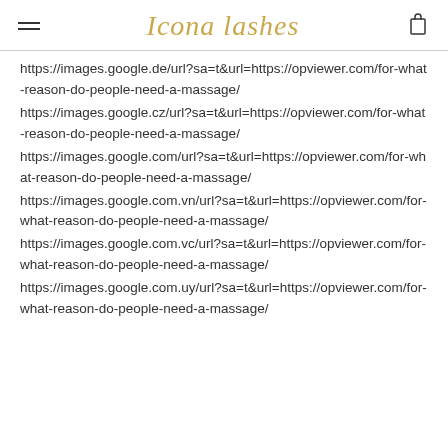Icona lashes
https://images.google.de/url?sa=t&url=https://opviewer.com/for-what-reason-do-people-need-a-massage/
https://images.google.cz/url?sa=t&url=https://opviewer.com/for-what-reason-do-people-need-a-massage/
https://images.google.com/url?sa=t&url=https://opviewer.com/for-what-reason-do-people-need-a-massage/
https://images.google.com.vn/url?sa=t&url=https://opviewer.com/for-what-reason-do-people-need-a-massage/
https://images.google.com.vc/url?sa=t&url=https://opviewer.com/for-what-reason-do-people-need-a-massage/
https://images.google.com.uy/url?sa=t&url=https://opviewer.com/for-what-reason-do-people-need-a-massage/